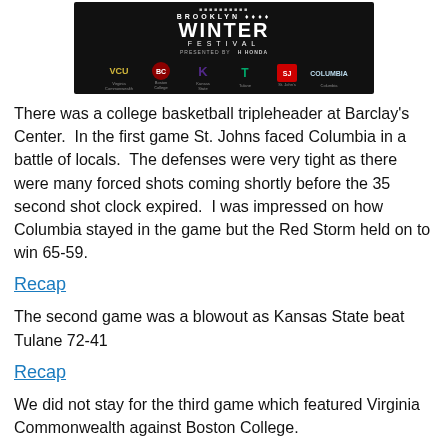[Figure (photo): Brooklyn Nets Winter Festival banner presented by Honda, showing logos of VCU (Virginia Commonwealth), Boston College, Kansas State, Tulane, St. John's, and Columbia.]
There was a college basketball tripleheader at Barclay's Center.  In the first game St. Johns faced Columbia in a battle of locals.  The defenses were very tight as there were many forced shots coming shortly before the 35 second shot clock expired.  I was impressed on how Columbia stayed in the game but the Red Storm held on to win 65-59.
Recap
The second game was a blowout as Kansas State beat Tulane 72-41
Recap
We did not stay for the third game which featured Virginia Commonwealth against Boston College.